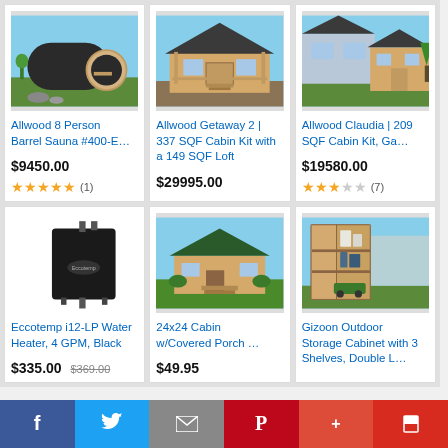[Figure (photo): Allwood 8 Person Barrel Sauna - outdoor barrel sauna with circular opening]
Allwood 8 Person Barrel Sauna #400-E…
$9450.00
★★★★★ (1)
[Figure (photo): Allwood Getaway 2 cabin kit - wooden cabin with covered porch]
Allwood Getaway 2 | 337 SQF Cabin Kit with a 149 SQF Loft
$29995.00
[Figure (photo): Allwood Claudia cabin kit - small house style cabin]
Allwood Claudia | 209 SQF Cabin Kit, Ga…
$19580.00
★★★☆☆ (7)
[Figure (photo): Eccotemp i12-LP Water Heater, 4 GPM, Black]
Eccotemp i12-LP Water Heater, 4 GPM, Black
$335.00 $369.00
[Figure (photo): 24x24 Cabin with Covered Porch - green roof cabin rendering]
24x24 Cabin w/Covered Porch …
$49.95
[Figure (photo): Gizoon Outdoor Storage Cabinet with 3 Shelves]
Gizoon Outdoor Storage Cabinet with 3 Shelves, Double L…
Facebook | Twitter | Email | Pinterest | Google+ | Flipboard